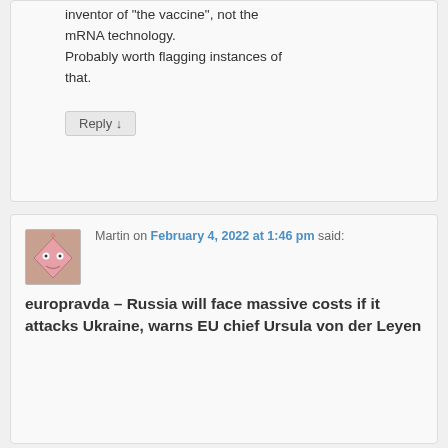inventor of "the vaccine", not the mRNA technology. Probably worth flagging instances of that.
Reply ↓
Martin on February 4, 2022 at 1:46 pm said:
europravda – Russia will face massive costs if it attacks Ukraine, warns EU chief Ursula von der Leyen